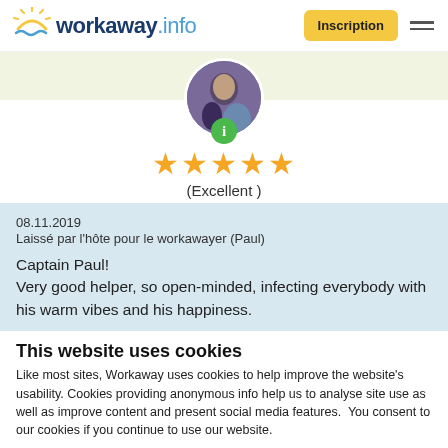workaway.info — Inscription
[Figure (photo): Circular avatar photo of a person, with a green info badge below]
[Figure (other): Five gold stars rating]
(Excellent )
08.11.2019
Laissé par l'hôte pour le workawayer (Paul)

Captain Paul!
Very good helper, so open-minded, infecting everybody with his warm vibes and his happiness.
This website uses cookies
Like most sites, Workaway uses cookies to help improve the website's usability. Cookies providing anonymous info help us to analyse site use as well as improve content and present social media features.  You consent to our cookies if you continue to use our website.
OK
Settings